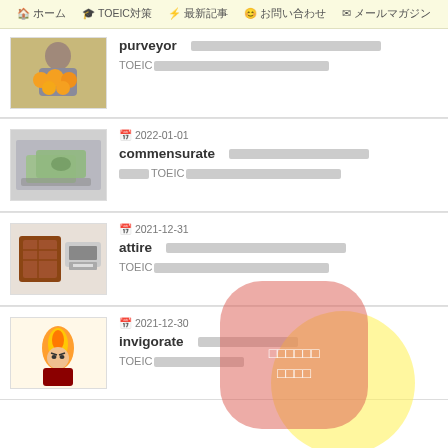ホーム　TOEIC対策　最新記事　お問い合わせ　メールマガジン
[Figure (photo): Person holding oranges, article thumbnail]
purveyor　□□□□□□□□□□□□□□□□□□□□□□□□□□□□□□□□□□□□□□□□　TOEIC□□□□□□□□□□□□□□□□□□□□□□□□□□□□□□□□□□□□
2022-01-01
[Figure (photo): Dollar bills on table, article thumbnail]
commensurate　□□□□□□□□□□□□□□□□□□□□□□□□□□□□□□□□□□□□　□□□□TOEIC□□□□□□□□□□□□□□□□□□□□□□□□□□□□□□□□□□□□□□
2021-12-31
[Figure (photo): Chocolate bar and printer, article thumbnail]
attire　□□□□□□□□□□□□□□□□□□□□□□□□□□□□□□□□□□□□□□□□　TOEIC□□□□□□□□□□□□□□□□□□□□□□□□□□□□□□□□□□
2021-12-30
[Figure (photo): Anime-style angry man with fire, article thumbnail]
invigorate　□□□□□□□□□□□□□□□□□□□□□□□□□□□□□□□□□□□□□□□□□□□□□　TOEIC□□□□□□□□□□□□□□□□□
[Figure (infographic): Overlapping pink rounded rectangle and yellow circle popup with white Japanese text in center]